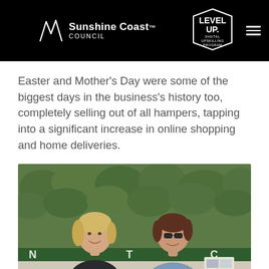Sunshine Coast Council — Level Up Digital Upskilling Program
Easter and Mother's Day were some of the biggest days in the business's history too, completely selling out of all hampers, tapping into a significant increase in online shopping and home deliveries.
[Figure (photo): Two women smiling and standing in front of a green hedge with a sign partially visible behind them reading 'N...T C...']